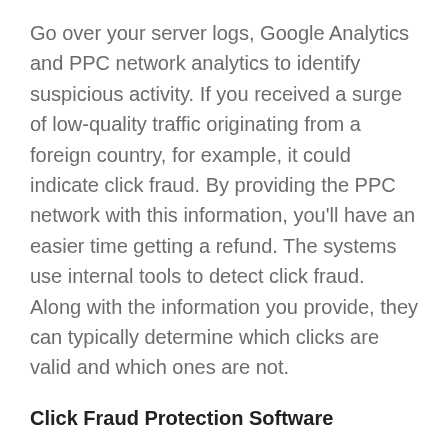Go over your server logs, Google Analytics and PPC network analytics to identify suspicious activity. If you received a surge of low-quality traffic originating from a foreign country, for example, it could indicate click fraud. By providing the PPC network with this information, you'll have an easier time getting a refund. The systems use internal tools to detect click fraud. Along with the information you provide, they can typically determine which clicks are valid and which ones are not.
Click Fraud Protection Software
Finally, consider using click fraud protection software like PPC Protect, ClickCease or